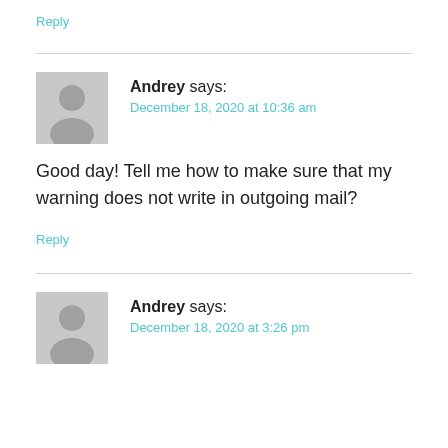Reply
Andrey says:
December 18, 2020 at 10:36 am
Good day! Tell me how to make sure that my warning does not write in outgoing mail?
Reply
Andrey says:
December 18, 2020 at 3:26 pm